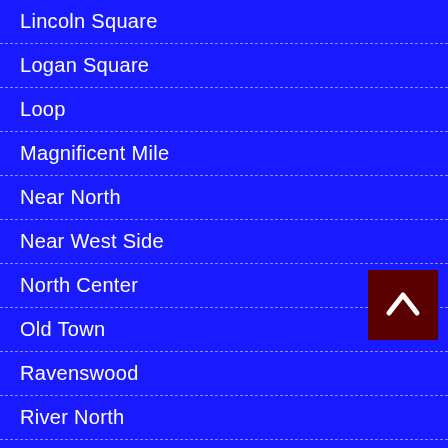Lincoln Square
Logan Square
Loop
Magnificent Mile
Near North
Near West Side
North Center
Old Town
Ravenswood
River North
Rogers Park
Roscoe Village
South Loop
Streeterville